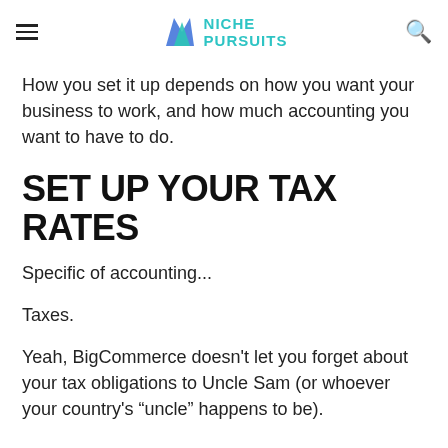NICHE PURSUITS
How you set it up depends on how you want your business to work, and how much accounting you want to have to do.
SET UP YOUR TAX RATES
Specific of accounting...
Taxes.
Yeah, BigCommerce doesn't let you forget about your tax obligations to Uncle Sam (or whoever your country's “uncle” happens to be).